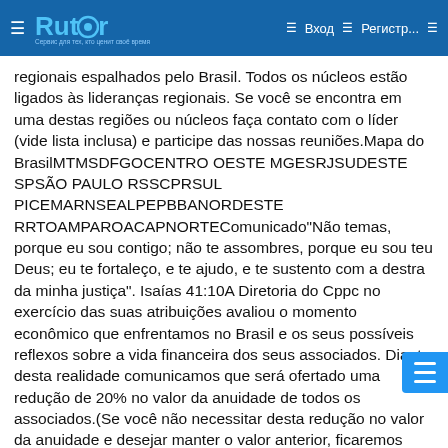Rutor — Вход — Регистр...
regionais espalhados pelo Brasil. Todos os núcleos estão ligados às lideranças regionais. Se você se encontra em uma destas regiões ou núcleos faça contato com o líder (vide lista inclusa) e participe das nossas reuniões.Mapa do BrasilMTMSDFGOCENTRO OESTE MGESRJSUDESTE SPSÃO PAULO RSSCPRSUL PICEMARNSEALPEPBBANORDESTE RRTOAMPAROACAPNORTEComunicado"Não temas, porque eu sou contigo; não te assombres, porque eu sou teu Deus; eu te fortaleço, e te ajudo, e te sustento com a destra da minha justiça". Isaías 41:10A Diretoria do Cppc no exercício das suas atribuições avaliou o momento econômico que enfrentamos no Brasil e os seus possíveis reflexos sobre a vida financeira dos seus associados. Diante desta realidade comunicamos que será ofertado uma redução de 20% no valor da anuidade de todos os associados.(Se você não necessitar desta redução no valor da anuidade e desejar manter o valor anterior, ficaremos gratos pela sua generosidade).Como instituição vivemos um momento delicado que precisamos muito do apoio, das orações